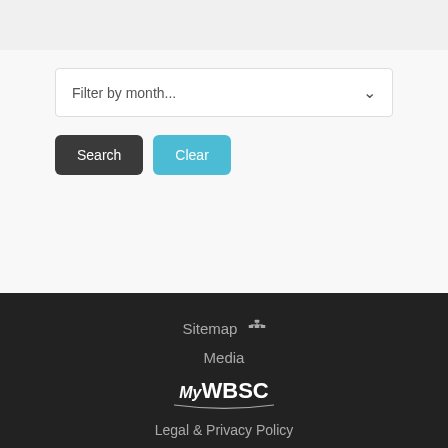Filter by month...
Search
Clear
Sitemap
Media
MyWBSC
Legal & Privacy Policy